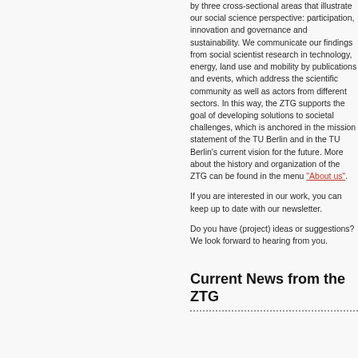by three cross-sectional areas that illustrate our social science perspective: participation, innovation and governance and sustainability. We communicate our findings from social scientist research in technology, energy, land use and mobility by publications and events, which address the scientific community as well as actors from different sectors. In this way, the ZTG supports the goal of developing solutions to societal challenges, which is anchored in the mission statement of the TU Berlin and in the TU Berlin's current vision for the future. More about the history and organization of the ZTG can be found in the menu "About us".
If you are interested in our work, you can keep up to date with our newsletter.
Do you have (project) ideas or suggestions? We look forward to hearing from you.
Current News from the ZTG